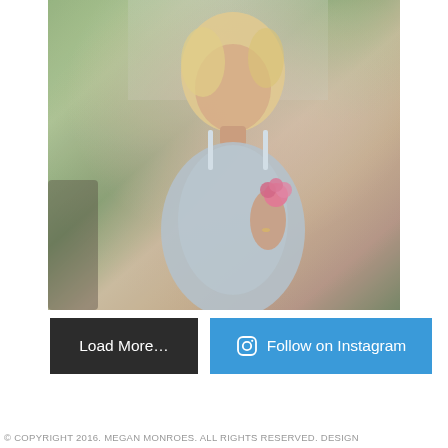[Figure (photo): Vintage color photograph of a blonde woman in a light blue polka dot sundress with spaghetti straps, holding a small pink flower, looking down, with green trees in the background.]
Load More…
Follow on Instagram
© COPYRIGHT 2016. MEGAN MONROES. ALL RIGHTS RESERVED. DESIGN